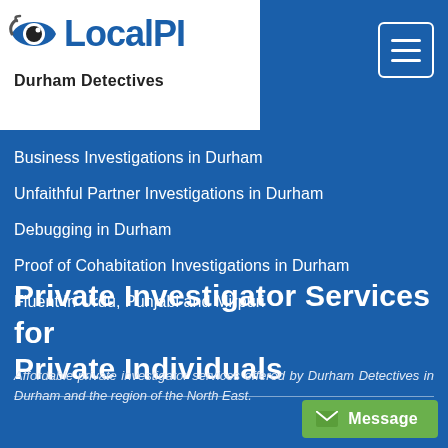[Figure (logo): LocalPI Durham Detectives logo with eye icon and text 'LocalPI' in blue, subtitle 'Durham Detectives' in bold black]
Business Investigations in Durham
Unfaithful Partner Investigations in Durham
Debugging in Durham
Proof of Cohabitation Investigations in Durham
Fluent in Urdu, Punjabi and Mirpuri
Private Investigator Services for Private Individuals
Affordable private investigator services offered by Durham Detectives in Durham and the region of the North East.